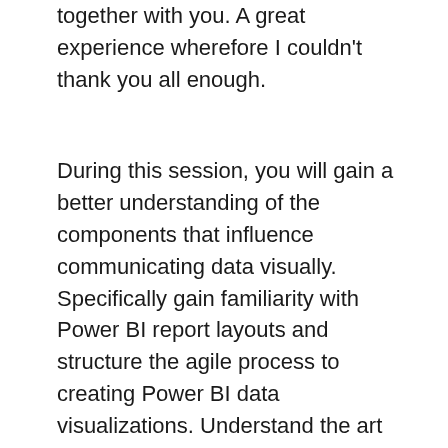together with you. A great experience wherefore I couldn't thank you all enough.
During this session, you will gain a better understanding of the components that influence communicating data visually. Specifically gain familiarity with Power BI report layouts and structure the agile process to creating Power BI data visualizations. Understand the art behind visualizations, implications behind choosing the right charts, the impact of color, shape and size, and finally the use of Power BI custom visuals. Learn how to use bookmarks in Power BI to communicate insights in your data.